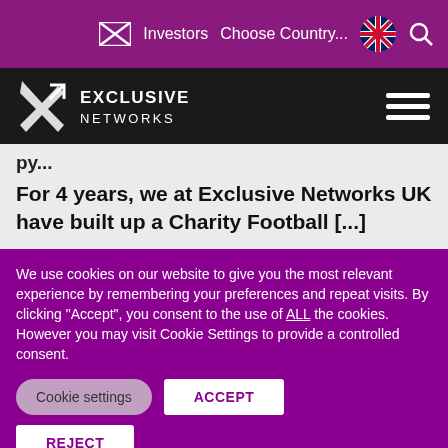Investors  Choose Country...  [UK flag]  [Search]
[Figure (logo): Exclusive Networks logo — white X mark and text 'EXCLUSIVE NETWORKS' on dark background, with hamburger menu icon on right]
py...
For 4 years, we at Exclusive Networks UK have built up a Charity Football [...]
We use cookies on our website to give you the most relevant experience by remembering your preferences and repeat visits. By clicking “Accept”, you consent to the use of ALL the cookies. However you may visit Cookie Settings to provide a controlled consent.
Cookie settings  ACCEPT  REJECT